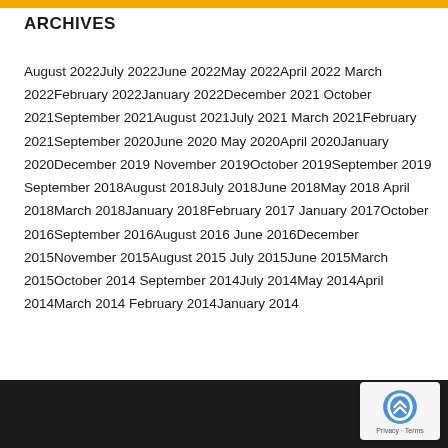ARCHIVES
August 2022July 2022June 2022May 2022April 2022March 2022February 2022January 2022December 2021October 2021September 2021August 2021July 2021March 2021February 2021September 2020June 2020May 2020April 2020January 2020December 2019November 2019October 2019September 2019September 2018August 2018July 2018June 2018May 2018April 2018March 2018January 2018February 2017January 2017October 2016September 2016August 2016June 2016December 2015November 2015August 2015July 2015June 2015March 2015October 2014September 2014July 2014May 2014April 2014March 2014February 2014January 2014